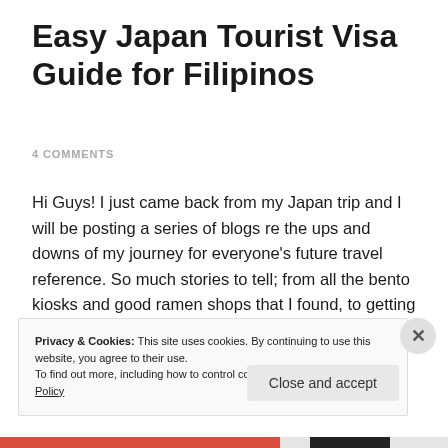Easy Japan Tourist Visa Guide for Filipinos
4 COMMENTS
Hi Guys! I just came back from my Japan trip and I will be posting a series of blogs re the ups and downs of my journey for everyone's future travel reference. So much stories to tell; from all the bento kiosks and good ramen shops that I found, to getting lost on Japan's massively overwhelming … Continue reading
Privacy & Cookies: This site uses cookies. By continuing to use this website, you agree to their use.
To find out more, including how to control cookies, see here: Cookie Policy
Close and accept